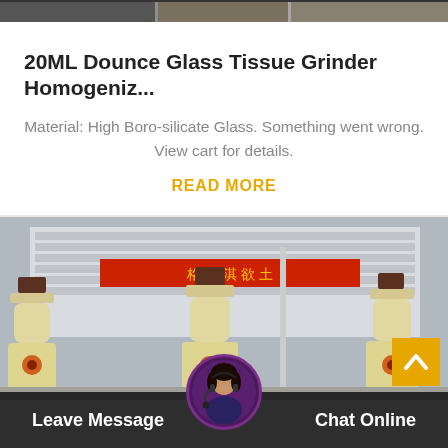[Figure (photo): Top strip showing partial photo of industrial or product images in grayscale]
20ML Dounce Glass Tissue Grinder Homogeniz...
Material: High Boro-silicate Glass. Something went wrong. View cart for details.
READ MORE
[Figure (photo): Three large industrial mill grinder machines (cream/beige colored) displayed outdoors in front of a factory building with Chinese text signage]
Leave Message   Chat Online